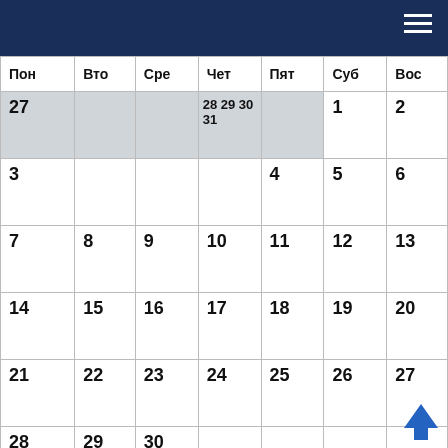Calendar header with hamburger menu
| Пон | Вто | Сре | Чет | Пят | Суб | Вос |
| --- | --- | --- | --- | --- | --- | --- |
| 27 |  |  |  | 28  29  30  31 |  | 1 | 2 |
| 3 |  |  |  | 4 | 5 | 6 | 7 | 8 | 9 |
| 10 |  |  |  | 11 | 12 | 13 | 14 | 15 | 16 |
| 17 |  |  |  | 18 | 19 | 20 | 21 | 22 | 23 |
| 24 |  |  |  | 25 | 26 | 27 | 28 | 29 | 30 |